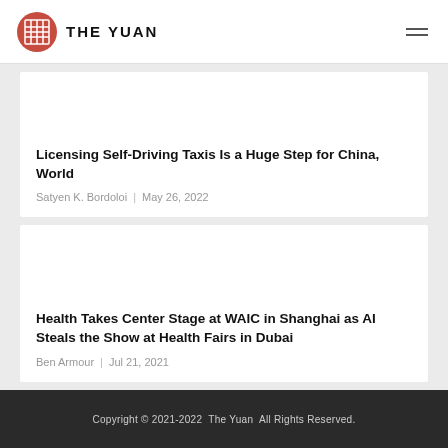THE YUAN
Licensing Self-Driving Taxis Is a Huge Step for China, World
Satyen K. Bordoloi  |  May 26, 2022
Health Takes Center Stage at WAIC in Shanghai as AI Steals the Show at Health Fairs in Dubai
Ben Armour  |  Jul 21, 2021
Copyright © 2021-2022  The Yuan  All Rights Reserved.